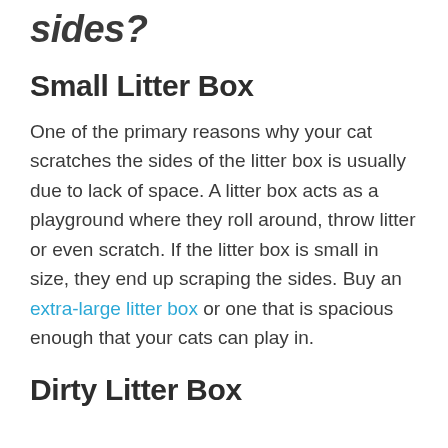sides?
Small Litter Box
One of the primary reasons why your cat scratches the sides of the litter box is usually due to lack of space. A litter box acts as a playground where they roll around, throw litter or even scratch. If the litter box is small in size, they end up scraping the sides. Buy an extra-large litter box or one that is spacious enough that your cats can play in.
Dirty Litter Box